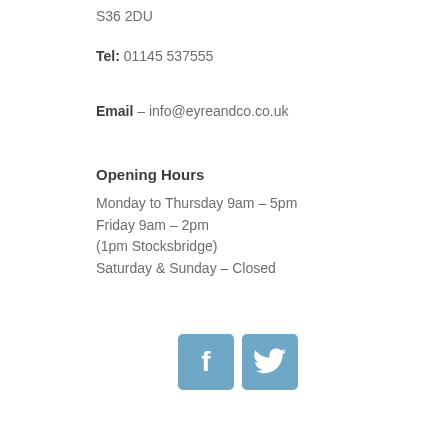S36 2DU
Tel: 01145 537555
Email – info@eyreandco.co.uk
Opening Hours
Monday to Thursday 9am – 5pm
Friday 9am – 2pm
(1pm Stocksbridge)
Saturday & Sunday – Closed
[Figure (illustration): Facebook and Twitter social media icon buttons in blue/steel color]